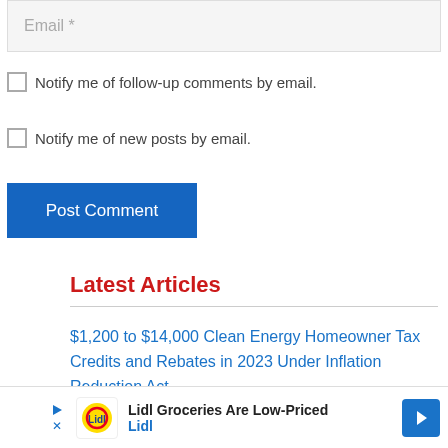Email *
Notify me of follow-up comments by email.
Notify me of new posts by email.
Post Comment
Latest Articles
$1,200 to $14,000 Clean Energy Homeowner Tax Credits and Rebates in 2023 Under Inflation Reduction Act
Lidl Groceries Are Low-Priced
Lidl